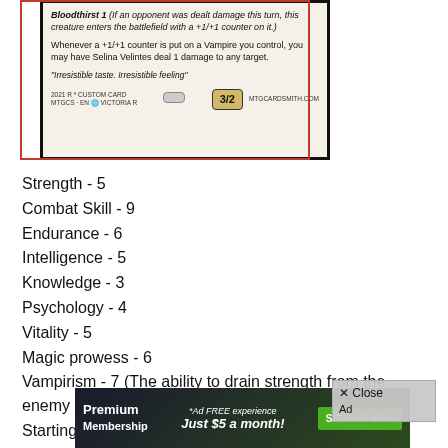[Figure (illustration): Magic: The Gathering custom card for 'Selina Velintes'. Card text includes: Bloodthirst 1 (If an opponent was dealt damage this turn, this creature enters the battlefield with a +1/+1 counter on it.) Whenever a +1/+1 counter is put on a Vampire you control, you may have Selina Velintes deal 1 damage to any target. Flavor text: 'Irresistible taste. Irresistible feeling'. Power/Toughness: 3/2. Footer: 2021 R * CUSTOM CARD MTGCS · EN VICTORIA R · MTGCARDSMITH.COM]
Strength - 5
Combat Skill - 9
Endurance - 6
Intelligence - 5
Knowledge - 3
Psychology - 4
Vitality -  5
Magic prowess - 6
Vampirism - 7 (The ability to drain strength from the enemy by drinking their blood)
Starting
[Figure (other): Premium Membership advertisement overlay: '*Ad FREE experience Just $5 a month!' with SIGN UP NOW button. Also shows '× Close Ad' box.]